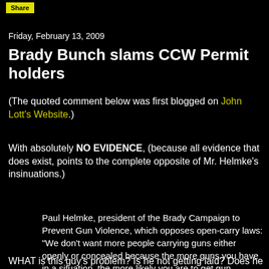Share
Friday, February 13, 2009
Brady Bunch slams CCW Permit holders
(The quoted comment below was first blogged on John Lott's Website.)
With absolutely NO EVIDENCE, (because all evidence that does exist, points to the complete opposite of Mr. Helmke's insinuations.)
Paul Helmke, president of the Brady Campaign to Prevent Gun Violence, which opposes open-carry laws: "We don't want more people carrying guns either openly or concealed because the more guns you have in a situation, the more likely you are to get gun violence."
WHAT is this guy's problem? Is he not getting laid? Does he